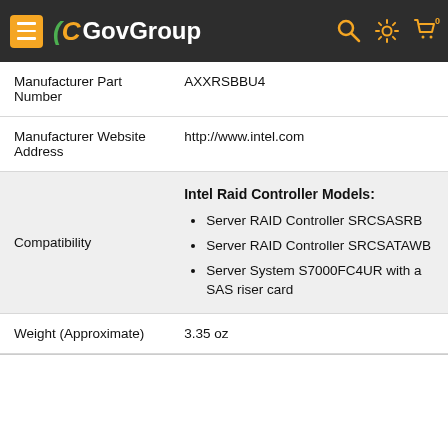GovGroup
| Field | Value |
| --- | --- |
| Manufacturer Part Number | AXXRSBBU4 |
| Manufacturer Website Address | http://www.intel.com |
| Compatibility | Intel Raid Controller Models: Server RAID Controller SRCSASRB, Server RAID Controller SRCSATAWB, Server System S7000FC4UR with a SAS riser card |
| Weight (Approximate) | 3.35 oz |